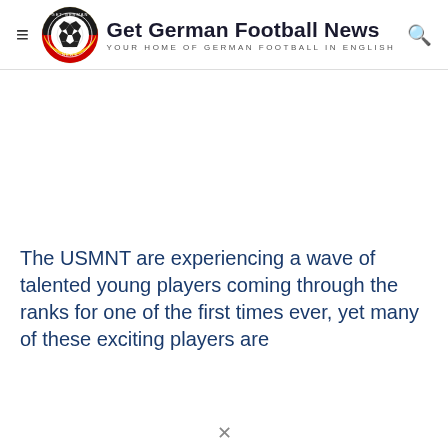Get German Football News — YOUR HOME OF GERMAN FOOTBALL IN ENGLISH
The USMNT are experiencing a wave of talented young players coming through the ranks for one of the first times ever, yet many of these exciting players are